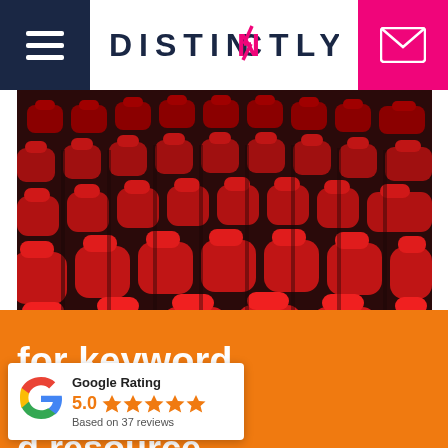[Figure (logo): DISTINCTLY logo with pink lightning bolt N, dark navy text on white background]
[Figure (photo): Rows of empty red velvet theater/cinema seats viewed from above at an angle]
for keyword an d resource
[Figure (infographic): Google Rating popup widget: 5.0 stars, Based on 37 reviews]